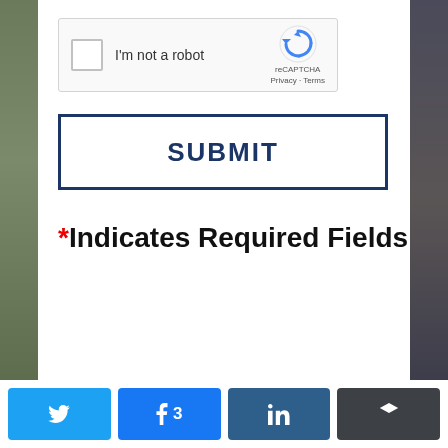[Figure (screenshot): reCAPTCHA widget with checkbox labeled 'I'm not a robot' and reCAPTCHA logo with Privacy and Terms links]
SUBMIT
*Indicates Required Fields
[Figure (infographic): Social share bar with Twitter, Facebook (3), LinkedIn, and Buffer buttons]